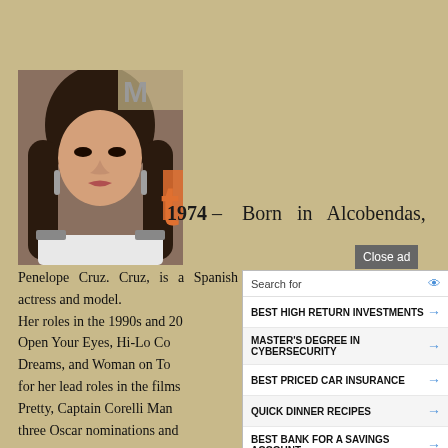[Figure (photo): Portrait photo of Penelope Cruz at an event, wearing a white top with embellished shoulders, dark wavy hair]
1974 – Born in Alcobendas,
Penelope Cruz. Cruz, is a Spanish actress and model. Her roles in the 1990s and 2000s, including Open Your Eyes, Hi-Lo Country, All the Pretty Horses, Blow, Vanilla Sky, Waking Up in Reno, Gothika, Noel, Head in the Clouds, The Hi-Lo Country, Woman on Top, gained her recognition for her lead roles in the films. Pretty, Captain Corelli Mandolin, earning three Oscar nominations and
[Figure (screenshot): Advertisement overlay showing search suggestions: BEST HIGH RETURN INVESTMENTS, MASTER'S DEGREE IN CYBERSECURITY, BEST PRICED CAR INSURANCE, QUICK DINNER RECIPES, BEST BANK FOR A SAVINGS ACCOUNT. Business Focus ad footer.]